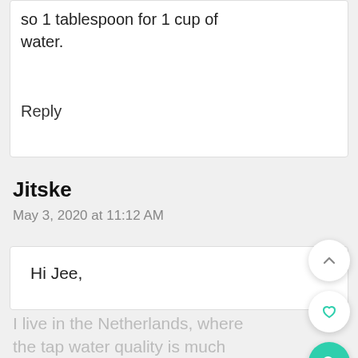so 1 tablespoon for 1 cup of water.
Reply
Jitske
May 3, 2020 at 11:12 AM
Hi Jee,
I live in the Netherlands, where the tap water quality is much